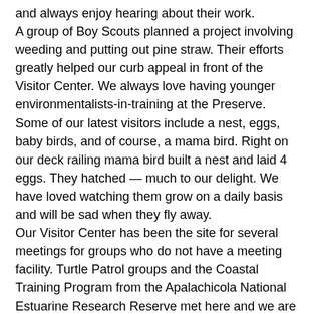and always enjoy hearing about their work.
A group of Boy Scouts planned a project involving weeding and putting out pine straw. Their efforts greatly helped our curb appeal in front of the Visitor Center. We always love having younger environmentalists-in-training at the Preserve. Some of our latest visitors include a nest, eggs, baby birds, and of course, a mama bird. Right on our deck railing mama bird built a nest and laid 4 eggs. They hatched — much to our delight. We have loved watching them grow on a daily basis and will be sad when they fly away.
Our Visitor Center has been the site for several meetings for groups who do not have a meeting facility. Turtle Patrol groups and the Coastal Training Program from the Apalachicola National Estuarine Research Reserve met here and we are happy to be able to offer our site for their use.
T.S. Colin helped getting thinking about our Hurricane Disaster Plan. We are thankful it was just a mild test however we were happy to review our plan of action even we sincerely hope we never need it. Always be ready – in case – is our motto!